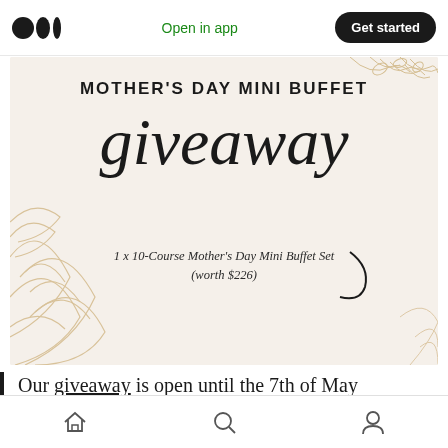Open in app | Get started
[Figure (illustration): Mother's Day Mini Buffet Giveaway promotional image with script text 'giveaway' and floral decorative elements. Subtitle: '1 x 10-Course Mother's Day Mini Buffet Set (worth $226)']
Our giveaway is open until the 7th of May 11.59pm so hurry if you haven't submitted your
Home | Search | Profile